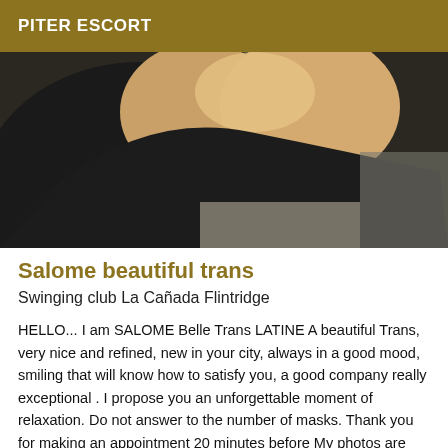PITER ESCORT
[Figure (photo): Close-up photo of a person wearing a dark top, suggestive/partial body image]
Salome beautiful trans
Swinging club La Cañada Flintridge
HELLO... I am SALOME Belle Trans LATINE A beautiful Trans, very nice and refined, new in your city, always in a good mood, smiling that will know how to satisfy you, a good company really exceptional . I propose you an unforgettable moment of relaxation. Do not answer to the number of masks. Thank you for making an appointment 20 minutes before My photos are 100%